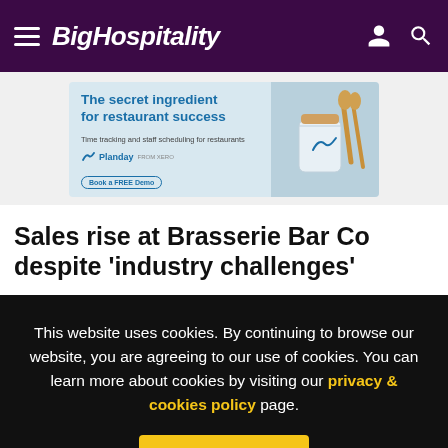BigHospitality
[Figure (illustration): Planday advertisement banner: 'The secret ingredient for restaurant success — Time tracking and staff scheduling for restaurants. Planday (from Xero). Book a FREE Demo.' With image of a jar and wooden spoons on right side.]
Sales rise at Brasserie Bar Co despite 'industry challenges'
This website uses cookies. By continuing to browse our website, you are agreeing to our use of cookies. You can learn more about cookies by visiting our privacy & cookies policy page.